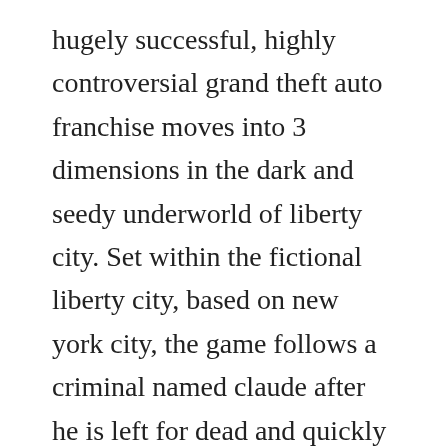hugely successful, highly controversial grand theft auto franchise moves into 3 dimensions in the dark and seedy underworld of liberty city. Set within the fictional liberty city, based on new york city, the game follows a criminal named claude after he is left for dead and quickly becomes entangled in a world of gangs. This video shows you how to download and install gta 3 2001 game for free on pc. Gta sa game jar 128x160 software free download gta sa. New 2020 how to download gta 3 in android for free gta 3. Rockstar games verschenkt gta san andreas zum start des